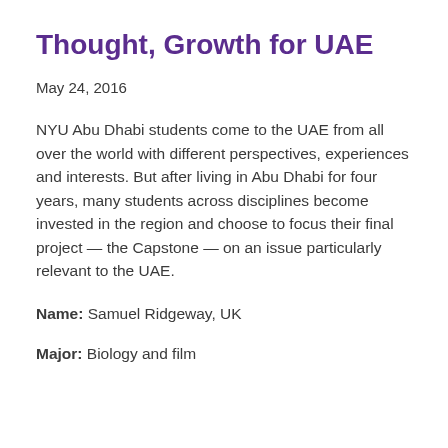Thought, Growth for UAE
May 24, 2016
NYU Abu Dhabi students come to the UAE from all over the world with different perspectives, experiences and interests. But after living in Abu Dhabi for four years, many students across disciplines become invested in the region and choose to focus their final project — the Capstone — on an issue particularly relevant to the UAE.
Name: Samuel Ridgeway, UK
Major: Biology and film